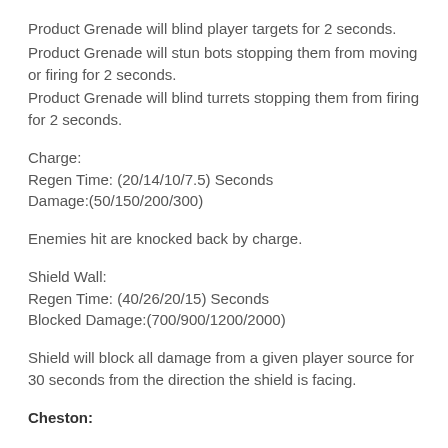Product Grenade will blind player targets for 2 seconds.
Product Grenade will stun bots stopping them from moving or firing for 2 seconds.
Product Grenade will blind turrets stopping them from firing for 2 seconds.
Charge:
Regen Time: (20/14/10/7.5) Seconds
Damage:(50/150/200/300)
Enemies hit are knocked back by charge.
Shield Wall:
Regen Time: (40/26/20/15) Seconds
Blocked Damage:(700/900/1200/2000)
Shield will block all damage from a given player source for 30 seconds from the direction the shield is facing.
Cheston: